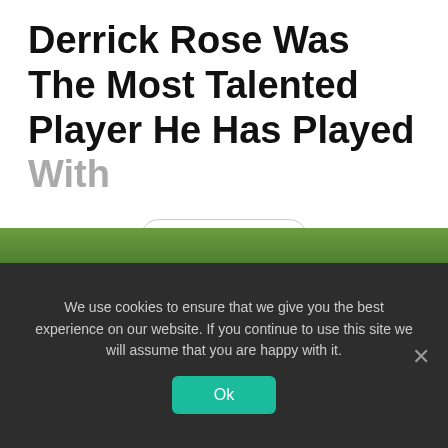Derrick Rose Was The Most Talented Player He Has Played With
Read More
Tags: Derrick Rose  Richard Hamilton
Taboola Feed
[Figure (photo): Green foliage/plants strip at bottom of page]
We use cookies to ensure that we give you the best experience on our website. If you continue to use this site we will assume that you are happy with it.
Ok